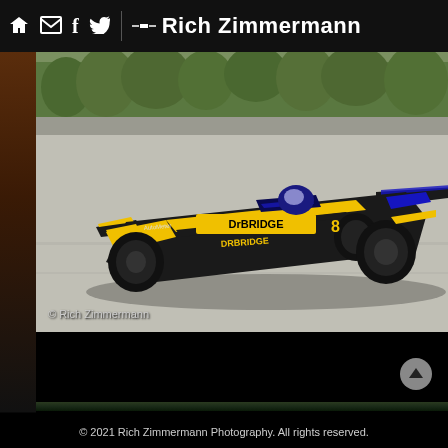Rich Zimmermann
[Figure (photo): IndyCar racing car with yellow and black livery featuring 'DrBridge' sponsorship on a racing circuit, photographed by Rich Zimmermann. Watermark reads: © Rich Zimmermann]
© 2021 Rich Zimmermann Photography. All rights reserved.